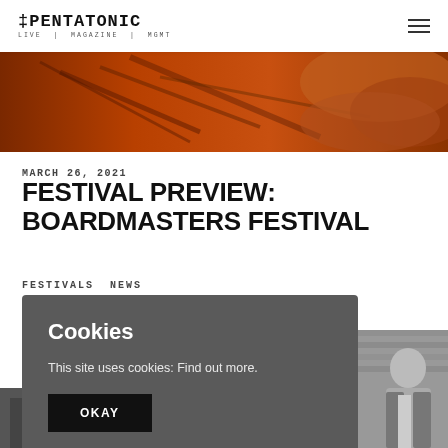THE PENTATONIC — LIVE | MAGAZINE | MGMT
[Figure (photo): Dark orange/red toned image of what appears to be a wooden structure or fence against orange foliage]
MARCH 26, 2021
FESTIVAL PREVIEW: BOARDMASTERS FESTIVAL
FESTIVALS NEWS
Cookies
This site uses cookies: Find out more.
OKAY
[Figure (photo): Black and white photo of a young man standing against a brick wall, wearing a jacket]